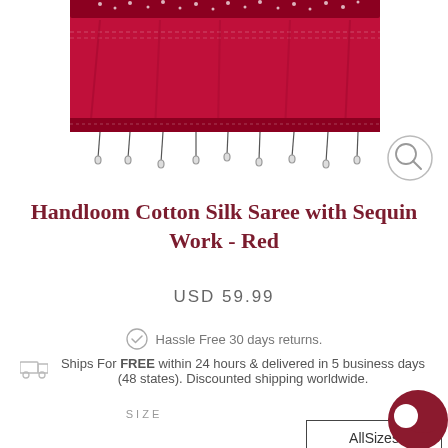[Figure (photo): Photo of a red handloom cotton silk saree with white sequin work and tassels along the bottom edge, partially shown from above]
Handloom Cotton Silk Saree with Sequin Work - Red
USD 59.99
Hassle Free 30 days returns.
Ships For FREE within 24 hours & delivered in 5 business days (48 states). Discounted shipping worldwide.
SIZE
AllSizes